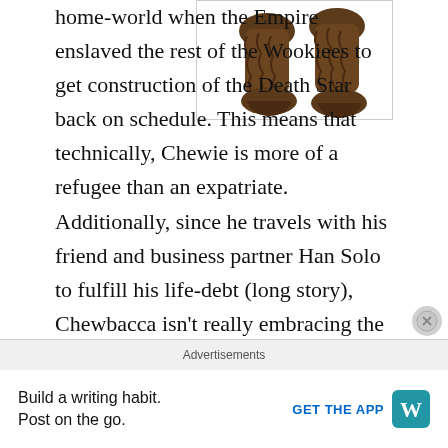[Figure (photo): Chewbacca's furry legs and feet, brown fur, on white background]
home-world when the Empire enslaved the rest of the Wookiees to get construction of the Death Star back on schedule.  This means that technically, Chewie is more of a refugee than an expatriate.  Additionally, since he travels with his friend and business partner Han Solo to fulfill his life-debt (long story), Chewbacca isn't really embracing the culture of any specific new place.

While I would love to say that Babylon 5 is full of expatriate characters, it really only has two:  Sinclair and Sheridan.  Both of them go to live on Minbar at
Advertisements
Build a writing habit.
Post on the go.
GET THE APP